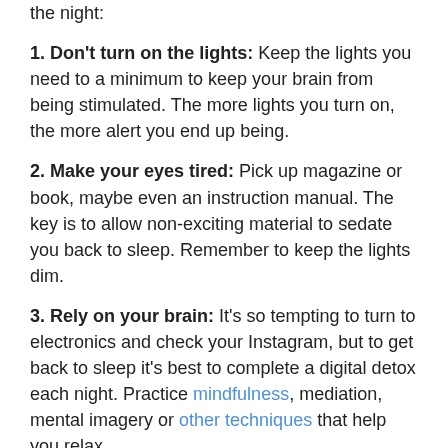the night:
1. Don't turn on the lights: Keep the lights you need to a minimum to keep your brain from being stimulated. The more lights you turn on, the more alert you end up being.
2. Make your eyes tired: Pick up magazine or book, maybe even an instruction manual. The key is to allow non-exciting material to sedate you back to sleep. Remember to keep the lights dim.
3. Rely on your brain: It's so tempting to turn to electronics and check your Instagram, but to get back to sleep it's best to complete a digital detox each night. Practice mindfulness, mediation, mental imagery or other techniques that help you relax.
4. Don't fumble around: If you woke up on your back, stay there. Don't give your body a reason to think it needs to be alert by standing up for prolonged periods of time. Whatever relaxing activity you choose to engage in after 20 minutes of being awake in bed, be sure to do it in another room and lying down if